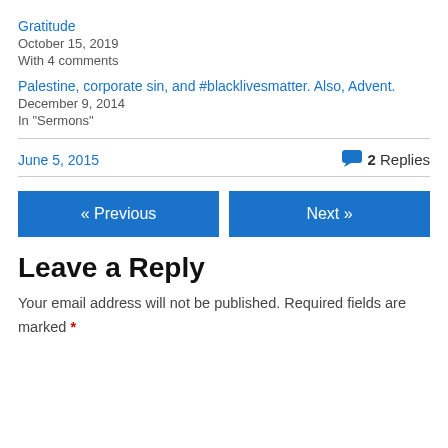Gratitude
October 15, 2019
With 4 comments
Palestine, corporate sin, and #blacklivesmatter. Also, Advent.
December 9, 2014
In "Sermons"
June 5, 2015
2 Replies
« Previous
Next »
Leave a Reply
Your email address will not be published. Required fields are marked *